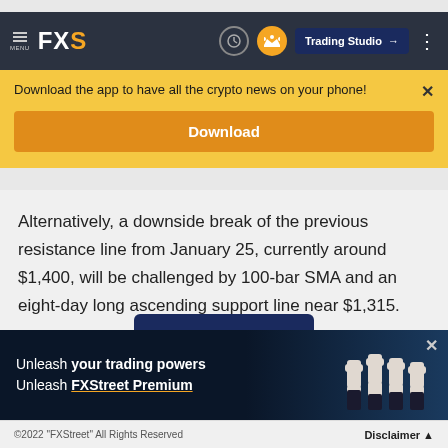MENU FXS | Trading Studio
Download the app to have all the crypto news on your phone!
Download
Alternatively, a downside break of the previous resistance line from January 25, currently around $1,400, will be challenged by 100-bar SMA and an eight-day long ascending support line near $1,315.
[Figure (screenshot): FXStreet Premium advertisement banner with raised fists imagery. Text reads: Unleash your trading powers Unleash FXStreet Premium]
©2022 "FXStreet" All Rights Reserved   Disclaimer ▲